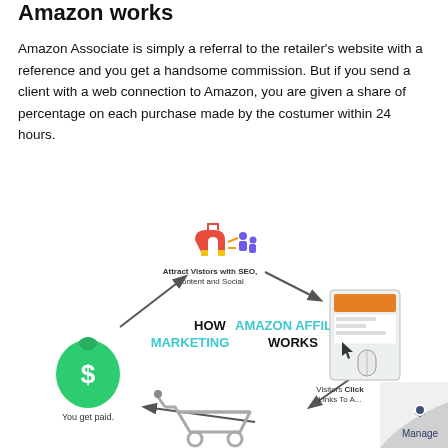Amazon works
Amazon Associate is simply a referral to the retailer's website with a reference and you get a handsome commission. But if you send a client with a web connection to Amazon, you are given a share of percentage on each purchase made by the costumer within 24 hours.
[Figure (infographic): Circular infographic showing how Amazon Affiliate Marketing works. Top: magnet attracting people icons labeled 'Attract Vistors with SEO, Content and Social'. Right: phone/tablet with mouse labeled 'Visitors Click Links To A...' Bottom right arrow. Bottom: shopping cart icon. Left: green money bag with dollar sign labeled 'You get paid'. Center text reads 'HOW AMAZON AFFILIATE MARKETING WORKS'. Bottom right corner shows a Manage logo (gear icon). Arrows connect each element in a cycle.]